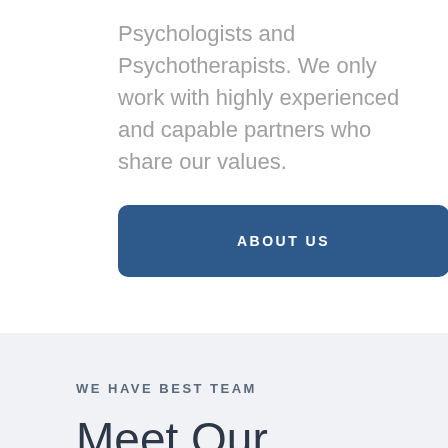Psychologists and Psychotherapists. We only work with highly experienced and capable partners who share our values.
ABOUT US
WE HAVE BEST TEAM
Meet Our Spesialists